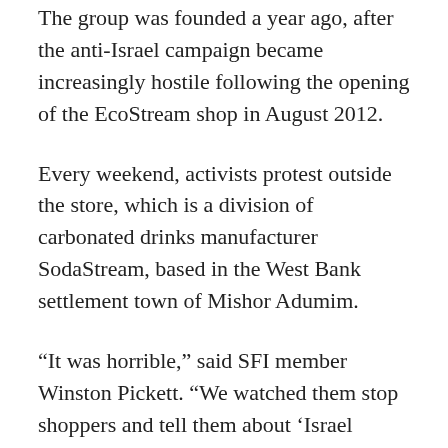The group was founded a year ago, after the anti-Israel campaign became increasingly hostile following the opening of the EcoStream shop in August 2012.
Every weekend, activists protest outside the store, which is a division of carbonated drinks manufacturer SodaStream, based in the West Bank settlement town of Mishor Adumim.
“It was horrible,” said SFI member Winston Pickett. “We watched them stop shoppers and tell them about ‘Israel apartheid’. There’s a real hatred of the shop that can be antisemitic in effect. You can really feel the hate and bigotry.”